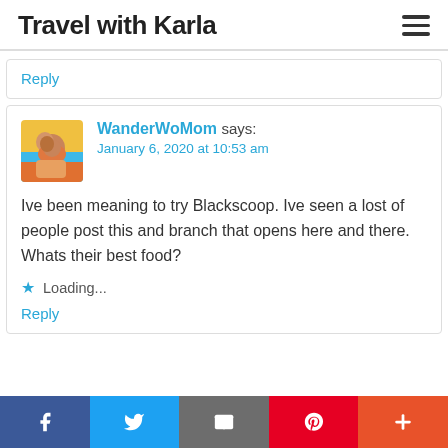Travel with Karla
Reply
WanderWoMom says:
January 6, 2020 at 10:53 am
Ive been meaning to try Blackscoop. Ive seen a lost of people post this and branch that opens here and there. Whats their best food?
Loading...
Reply